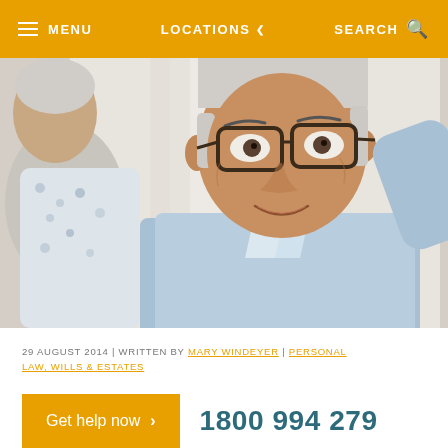MENU   LOCATIONS   SEARCH
[Figure (photo): Elderly man with glasses wearing a light blue shirt, smiling and talking; partial view of another person in a floral shirt in the foreground. Indoor setting with light background.]
29 AUGUST 2014 | WRITTEN BY MARY WINDEYER | PERSONAL LAW, WILLS & ESTATES
Get help now > 1800 994 279